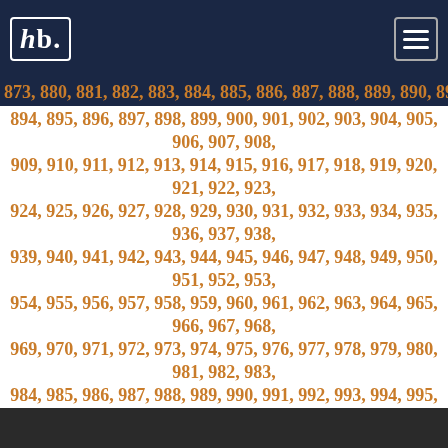hb. [logo] [menu button]
873, 880, 881, 882, 883, 884, 885, 886, 887, 888, 889, 890, 891, 892, 893, 894, 895, 896, 897, 898, 899, 900, 901, 902, 903, 904, 905, 906, 907, 908, 909, 910, 911, 912, 913, 914, 915, 916, 917, 918, 919, 920, 921, 922, 923, 924, 925, 926, 927, 928, 929, 930, 931, 932, 933, 934, 935, 936, 937, 938, 939, 940, 941, 942, 943, 944, 945, 946, 947, 948, 949, 950, 951, 952, 953, 954, 955, 956, 957, 958, 959, 960, 961, 962, 963, 964, 965, 966, 967, 968, 969, 970, 971, 972, 973, 974, 975, 976, 977, 978, 979, 980, 981, 982, 983, 984, 985, 986, 987, 988, 989, 990, 991, 992, 993, 994, 995, 996, 997, 998, 999, 1000, 1001, 1002, 1003, 1004, 1005, 1006, 1007, 1008, 1009, 1010, 1011, 1012, 1013, 1014, 1015, 1016, 1017, 1018, 1019, 1020, 1021, 1022, 1023, 1024, 1025, 1026, 1027, 1028, 1029, 1030, 1031, 1032, 1033, 1034, 1035, 1036, 1037, 1038, 1039, 1040, 1041, 1042, 1043, 1044, 1045, 1046, 1047, 1048, 1049, 1050, 1051, 1052, 1053, 1054, 1055, 1056, 1057, 1058, 1059, 1060, 1061, 1062, 1063, 1064, 1065, 1066, 1067, 1068, 1069, 1070, 1071, 1072, 1073, 1074, 1075, 1076, 1077, 1078, 1079, 1080, 1081, 1082, 1083, 1084, 1085, 1086, 1087, 1088, 1089, 1090, 1091, 1092, 1093, 1094, 1095, 1096, 1097, 1098, 1099, 1100, 1101, 1102, 1103, 1104, 1105, 1106, 1107, 1108, 1109, 1110, 1111, 1112, 1113, 1114, 1115, 1116, 1117, 1118,